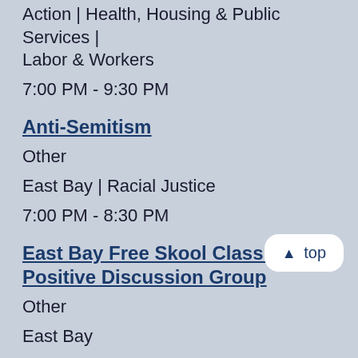Action | Health, Housing & Public Services | Labor & Workers
7:00 PM - 9:30 PM
Anti-Semitism
Other
East Bay | Racial Justice
7:00 PM - 8:30 PM
East Bay Free Skool Class: Sex Positive Discussion Group
Other
East Bay
8:00 PM - 10:00 PM